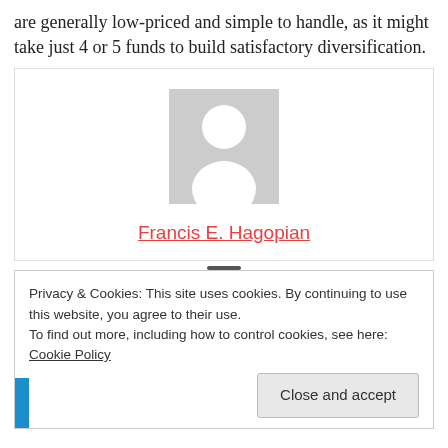are generally low-priced and simple to handle, as it might take just 4 or 5 funds to build satisfactory diversification.
[Figure (other): Author card with a gray placeholder avatar image and a name link in red/orange text: Francis E. Hagopian]
Privacy & Cookies: This site uses cookies. By continuing to use this website, you agree to their use. To find out more, including how to control cookies, see here: Cookie Policy
Close and accept